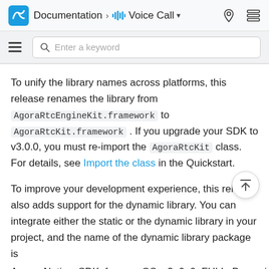Documentation > Voice Call
To unify the library names across platforms, this release renames the library from AgoraRtcEngineKit.framework to AgoraRtcKit.framework . If you upgrade your SDK to v3.0.0, you must re-import the AgoraRtcKit class. For details, see Import the class in the Quickstart.
To improve your development experience, this release also adds support for the dynamic library. You can integrate either the static or the dynamic library in your project, and the name of the dynamic library package is
Agora_Native_SDK_for_macOS_v3_0_0_FULL_Dynamic...